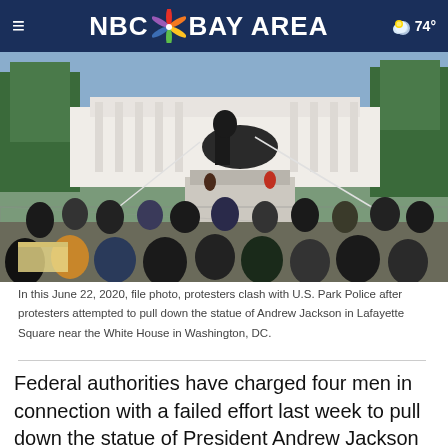NBC BAY AREA  74°
[Figure (photo): Protesters attempting to pull down the statue of Andrew Jackson in Lafayette Square near the White House in Washington, DC, on June 22, 2020. A crowd of people surrounds the statue base while some climbers are on the statue. Chain-link fences are visible in the foreground.]
In this June 22, 2020, file photo, protesters clash with U.S. Park Police after protesters attempted to pull down the statue of Andrew Jackson in Lafayette Square near the White House in Washington, DC.
Federal authorities have charged four men in connection with a failed effort last week to pull down the statue of President Andrew Jackson near the White House.